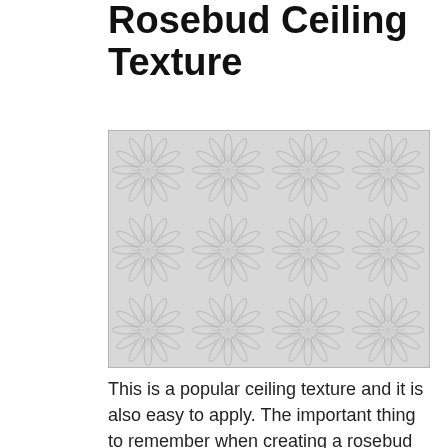Rosebud Ceiling Texture
[Figure (photo): Close-up photograph of a rosebud ceiling texture showing a repeating floral/starburst pattern in white plaster or joint compound, creating an embossed look across the surface.]
This is a popular ceiling texture and it is also easy to apply. The important thing to remember when creating a rosebud ceiling texture is to apply only a thin layer of mud. Then you will need a stomp brush or airless paint sprayer to achieve the look. This ceiling texture will match